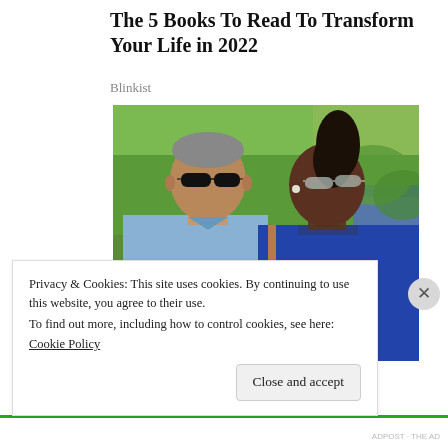The 5 Books To Read To Transform Your Life in 2022
Blinkist
[Figure (photo): Two people wearing sunglasses outdoors with green foliage in the background. A man in a blue checkered shirt on the left and a woman in a blue outfit on the right.]
Privacy & Cookies: This site uses cookies. By continuing to use this website, you agree to their use.
To find out more, including how to control cookies, see here: Cookie Policy
Close and accept